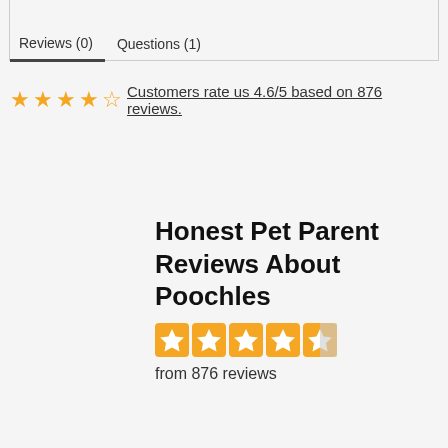Reviews (0)    Questions (1)
Customers rate us 4.6/5 based on 876 reviews.
Honest Pet Parent Reviews About Poochles
from 876 reviews